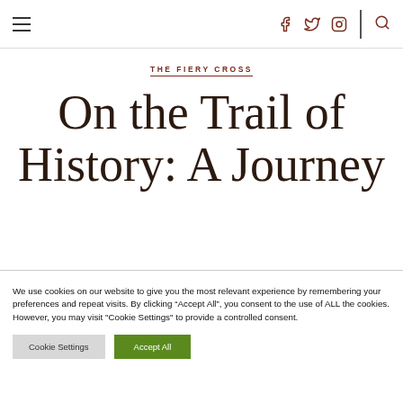≡  f  𝕥  ⊙  🔍
THE FIERY CROSS
On the Trail of History: A Journey
We use cookies on our website to give you the most relevant experience by remembering your preferences and repeat visits. By clicking "Accept All", you consent to the use of ALL the cookies. However, you may visit "Cookie Settings" to provide a controlled consent.